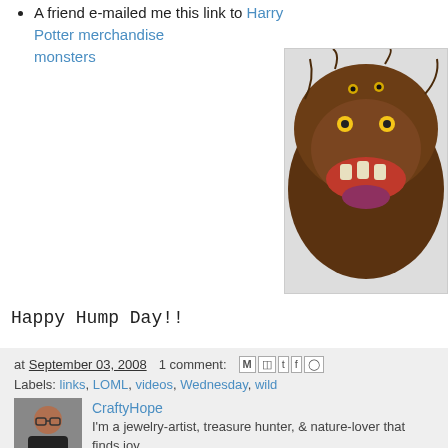A friend e-mailed me this link to Harry Potter merchandise monsters
[Figure (photo): A fuzzy brown monster toy/plush with teeth and a purple tongue, resembling a Harry Potter monster character]
Happy Hump Day!!
at September 03, 2008   1 comment:  [share icons: M, B, t, F, P]
Labels: links, LOML, videos, Wednesday, wild
[Figure (photo): Author photo of CraftyHope, a woman with glasses]
CraftyHope
I'm a jewelry-artist, treasure hunter, & nature-lover that finds joy inspiration.
Another Site. . . What Spare Time?
Hey guys!!! I took the plunge and posted on the *NEW* Fairy Cre... Check it out if you get a chance!!